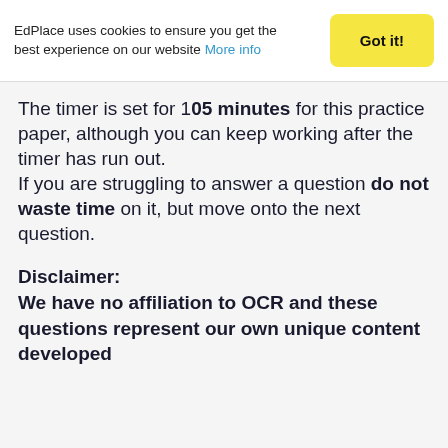EdPlace uses cookies to ensure you get the best experience on our website More info
The timer is set for 105 minutes for this practice paper, although you can keep working after the timer has run out.
If you are struggling to answer a question do not waste time on it, but move onto the next question.
Disclaimer:
We have no affiliation to OCR and these questions represent our own unique content developed